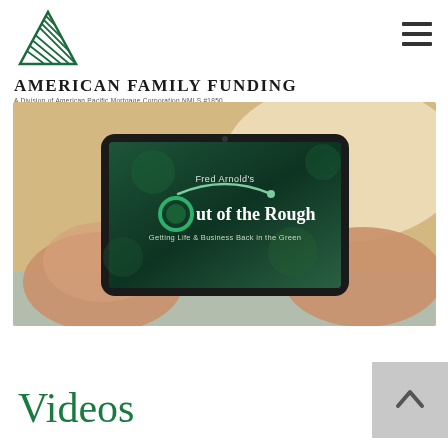[Figure (logo): American Family Funding logo — green triangle/mountain SVG mark above text 'AMERICAN FAMILY FUNDING' with subtitle 'A Division of American Pacific Mortgage Corporation NMLS #1850']
[Figure (photo): Hands holding a smartphone displaying 'Fred Arnold's Out of the Rough — Getting Life & Business Back in the Green' video thumbnail with dark green background]
Videos